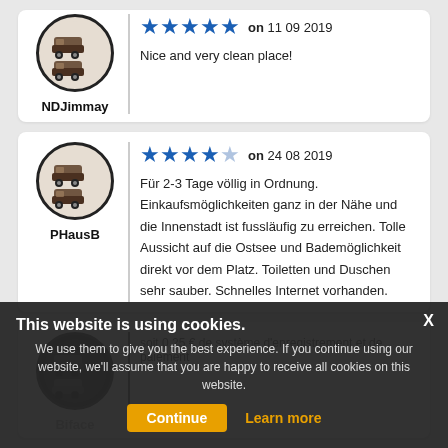[Figure (illustration): Camper van avatar icon for user NDJimmay, circular border]
NDJimmay
★★★★★ on 11 09 2019
Nice and very clean place!
[Figure (illustration): Camper van avatar icon for user PHausB, circular border]
PHausB
★★★★☆ on 24 08 2019
Für 2-3 Tage völlig in Ordnung. Einkaufsmöglichkeiten ganz in der Nähe und die Innenstadt ist fussläufig zu erreichen. Tolle Aussicht auf die Ostsee und Bademöglichkeit direkt vor dem Platz. Toiletten und Duschen sehr sauber. Schnelles Internet vorhanden.
[Figure (illustration): Camper van avatar icon for user Biface, circular border, partially hidden by cookie overlay]
Biface
soit 0,25 € de système d'enregistrement et de paiement
This website is using cookies. We use them to give you the best experience. If you continue using our website, we'll assume that you are happy to receive all cookies on this website. Continue  Learn more